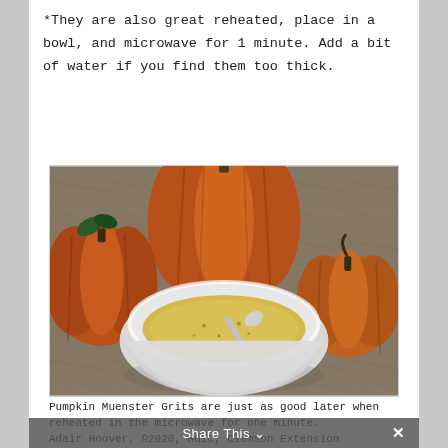*They are also great reheated, place in a bowl, and microwave for 1 minute. Add a bit of water if you find them too thick.
[Figure (photo): A white bowl filled with Pumpkin Muenster Grits with a spoon resting in it, surrounded by decorative and real pumpkins on a granite countertop.]
Pumpkin Muenster Grits are just as good later when reheated in the microwave for one minute.
Adair Hoover, ©2020, HGIC, Clemson Extension